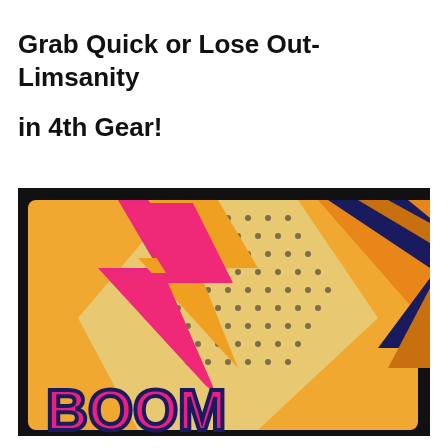Grab Quick or Lose Out-Limsanity in 4th Gear!
[Figure (illustration): Comic-style pop art illustration with bold letters spelling 'BOOM' in pink/magenta, a large lightning bolt in pink and orange with polka dot pattern fill, orange and navy diagonal stripes in background, black border frame around the image.]